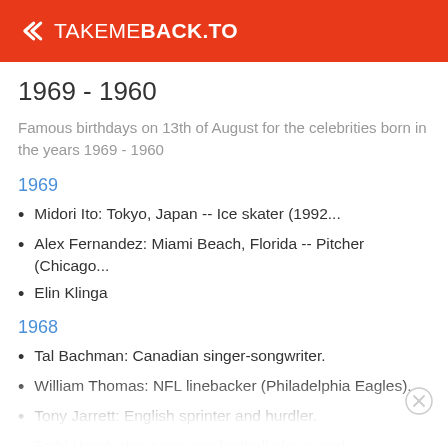TAKEMEBACK.TO
1969 - 1960
Famous birthdays on 13th of August for the celebrities born in the years 1969 - 1960
1969
Midori Ito: Tokyo, Japan -- Ice skater (1992...
Alex Fernandez: Miami Beach, Florida -- Pitcher (Chicago...
Elin Klinga
1968
Tal Bachman: Canadian singer-songwriter.
William Thomas: NFL linebacker (Philadelphia Eagles).
Tony Jarrett: English sprinter and hurdler.
Todd Hendricks: American football player and coach.
William Thomas: NFL linebacker (Philadelphia